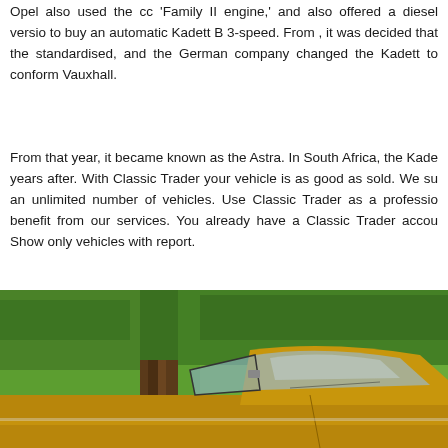Opel also used the cc 'Family II engine,' and also offered a diesel version to buy an automatic Kadett B 3-speed. From , it was decided that the standardised, and the German company changed the Kadett to conform Vauxhall.
From that year, it became known as the Astra. In South Africa, the Kade years after. With Classic Trader your vehicle is as good as sold. We su an unlimited number of vehicles. Use Classic Trader as a professio benefit from our services. You already have a Classic Trader accou Show only vehicles with report.
[Figure (photo): A gold/brown classic car (Opel Kadett) photographed outdoors in a park setting with green grass and a large tree trunk visible in the background. The photo shows the upper portion of the car including the windshield, roof, and side windows.]